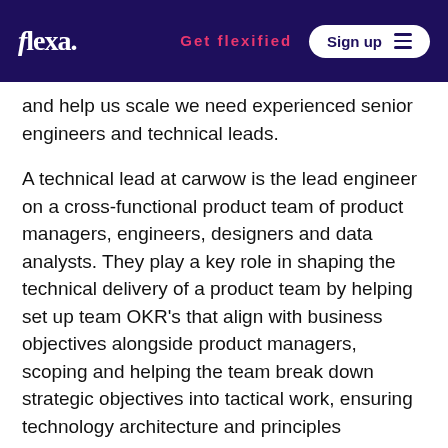flexa. | Get flexified | Sign up
and help us scale we need experienced senior engineers and technical leads.
A technical lead at carwow is the lead engineer on a cross-functional product team of product managers, engineers, designers and data analysts. They play a key role in shaping the technical delivery of a product team by helping set up team OKR's that align with business objectives alongside product managers, scoping and helping the team break down strategic objectives into tactical work, ensuring technology architecture and principles alignment within the team, and coaching the team alongside engineering managers to deliver great customer experiences.